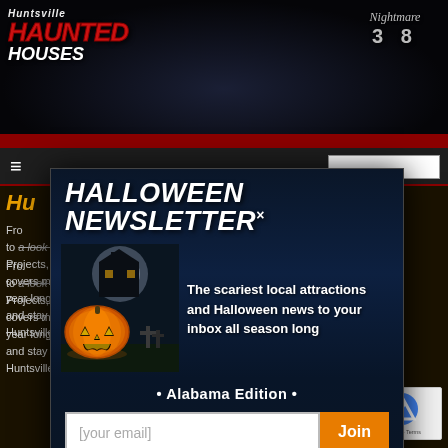[Figure (screenshot): Huntsville Haunted Houses website header with dark haunted house background, logo on left showing 'Huntsville HAUNTED HOUSES' and 'Nightmare 3 8' logo on right]
[Figure (screenshot): Halloween Newsletter popup modal with glowing jack-o-lantern pumpkin on dark graveyard background, email signup form with [your email] input field and orange Join button]
HALLOWEEN NEWSLETTER
The scariest local attractions and Halloween news to your inbox all season long
• Alabama Edition •
[your email]
Join
From a look into this Halloween Season's Hottest Trends, Festive DIY Projects, Scary Movies, and more HuntsvilleHauntedHouses.com's Blog covers more than just haunted houses! If you love all things Halloween year long, then you've come to the right place - check out our page and stay in the know about the best local Halloween fun happening in Huntsville 365 days a year!